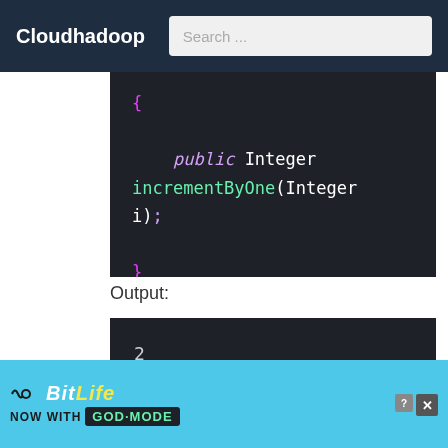Cloudhadoop  Search ...
[Figure (screenshot): Code block showing Java interface method: { public Integer incrementByOne(Integer i); }]
Output:
[Figure (screenshot): Output block showing two numbers: 2 and 5]
[Figure (illustration): BitLife advertisement banner: NOW WITH GOD MODE]